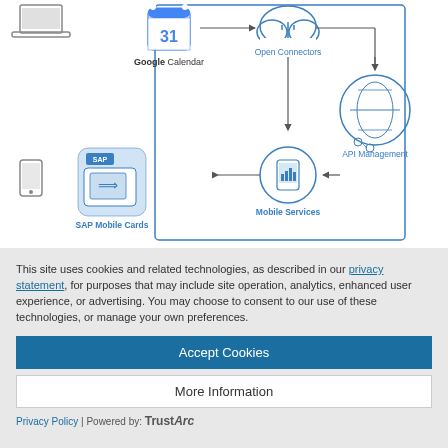[Figure (flowchart): Architecture diagram showing Google Calendar and a laptop icon connecting via arrows to Open Connectors and Mobile Services in a central box, which connects to API Management. SAP Mobile Cards with a phone icon connects back from Mobile Services via arrow.]
This site uses cookies and related technologies, as described in our privacy statement, for purposes that may include site operation, analytics, enhanced user experience, or advertising. You may choose to consent to our use of these technologies, or manage your own preferences.
Accept Cookies
More Information
Privacy Policy | Powered by: TrustArc